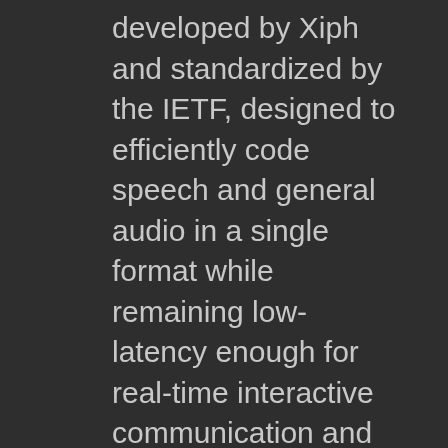developed by Xiph and standardized by the IETF, designed to efficiently code speech and general audio in a single format while remaining low-latency enough for real-time interactive communication and low-complexity enough for low-end ARM3 processors. MPEG-4 Part 14 or MP4 is a digital multimedia container format most commonly used to store video and audio. However, it can also be used to store other data such as subtitles and still images. M4A stands for MPEG 4 Audio and is a filename extension used to represent audio files.
Technical details
Opus supports constant and variable bitrate encoding from 6 kbit/s to 510 kbit/s, frame sizes from 2.5 ms to 60 ms